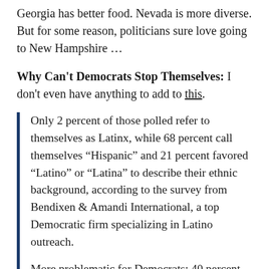... North Carolina is bigger. Arizona has better weather. Georgia has better food. Nevada is more diverse. But for some reason, politicians sure love going to New Hampshire ...
Why Can't Democrats Stop Themselves: I don't even have anything to add to this.
Only 2 percent of those polled refer to themselves as Latinx, while 68 percent call themselves “Hispanic” and 21 percent favored “Latino” or “Latina” to describe their ethnic background, according to the survey from Bendixen & Amandi International, a top Democratic firm specializing in Latino outreach.
More problematic for Democrats: 40 percent said Latinx bothers or offends them to some degree and 30 percent said they would be less likely to support a ...